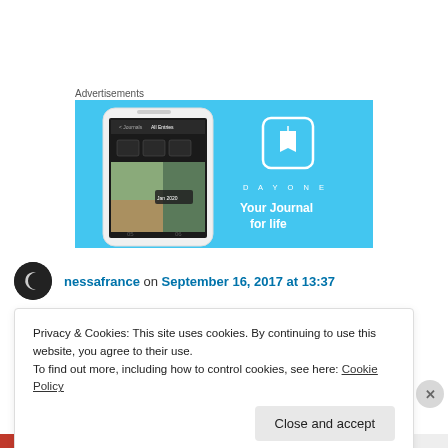Advertisements
[Figure (screenshot): DayOne app advertisement banner with blue background showing a smartphone with the DayOne journal app interface, and the DayOne logo with text 'Your Journal for life']
nessafrance on September 16, 2017 at 13:37
Privacy & Cookies: This site uses cookies. By continuing to use this website, you agree to their use.
To find out more, including how to control cookies, see here: Cookie Policy